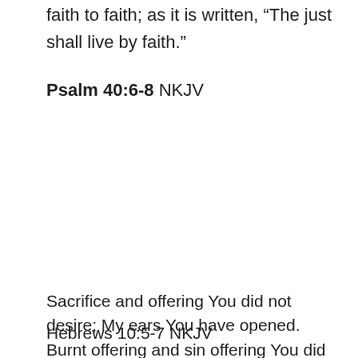faith to faith; as it is written, “The just shall live by faith.”
Psalm 40:6-8 NKJV
Sacrifice and offering You did not desire; My ears You have opened. Burnt offering and sin offering You did not require. Then I said, “Behold, I come; In the scroll of the book it is written of me. I delight to do Your will, O my God, And Your law is within my heart.”
Hebrews 10:5-7 NKJV
“Sacrifice and offering You did not desire, But a body You have prepared for Me. In burnt offerings and sacrifices for sin You had no pleasure. Then I said, ‘Behold, I have come — In the volume of the